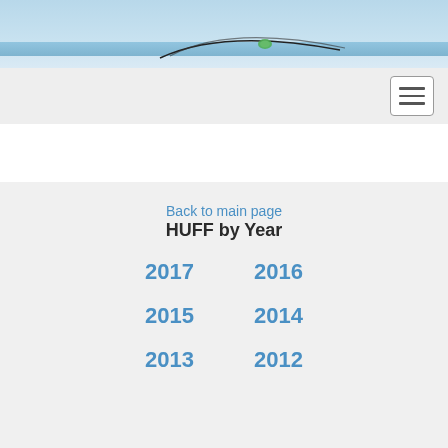[Figure (photo): Header banner image with light blue sky background and a curved black line with a small green element, resembling an aerial or sports equipment graphic]
[Figure (screenshot): Navigation bar with hamburger menu button (three horizontal lines) on a light gray background, aligned to the right]
Back to main page
HUFF by Year
2017
2016
2015
2014
2013
2012